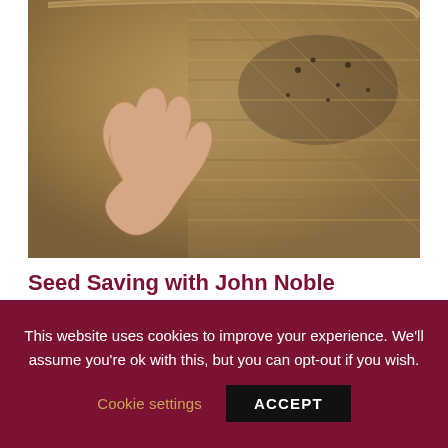[Figure (photo): A hand holding small seeds over a large round woven basket/tray filled with seeds and plant material]
Seed Saving with John Noble
Seed saving is a great way to cultivate and increase
This website uses cookies to improve your experience. We'll assume you're ok with this, but you can opt-out if you wish.
Cookie settings   ACCEPT